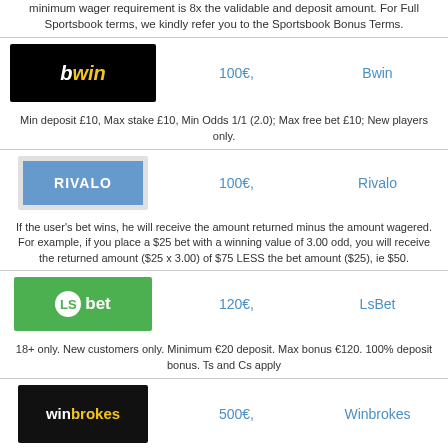minimum wager requirement is 8x the validable and deposit amount. For Full Sportsbook terms, we kindly refer you to the Sportsbook Bonus Terms.
[Figure (logo): bwin logo, black background, white italic bold text, 'win' in yellow]
100€,
Bwin
Min deposit £10, Max stake £10, Min Odds 1/1 (2.0); Max free bet £10; New players only.
[Figure (logo): Rivalo logo, blue background rectangle, white bold letters RIVALO]
100€,
Rivalo
If the user's bet wins, he will receive the amount returned minus the amount wagered. For example, if you place a $25 bet with a winning value of 3.00 odd, you will receive the returned amount ($25 x 3.00) of $75 LESS the bet amount ($25), ie $50.
[Figure (logo): LSbet logo, green background, white circle with LS, white text 'bet']
120€,
LsBet
18+ only. New customers only. Minimum €20 deposit. Max bonus €120. 100% deposit bonus. Ts and Cs apply
[Figure (logo): winbrokes logo, black background, white text 'win' with yellow 'brokes']
500€,
Winbrokes
To receive the bonus, after completing the registration, make a first deposit of at least 10€ (or equivalent currency) within 15 days from the opening date of the account. The user must enter the "SPORT500" code in the "Promotion Code" field on the payout window selected. All payments made by methods such as Credit Card, Skrill, Neteller, Astropay, Paysafecard, ecoPayz and Bank Transfer will be considered qualifying.
[Figure (logo): Dark logo, partially visible at bottom]